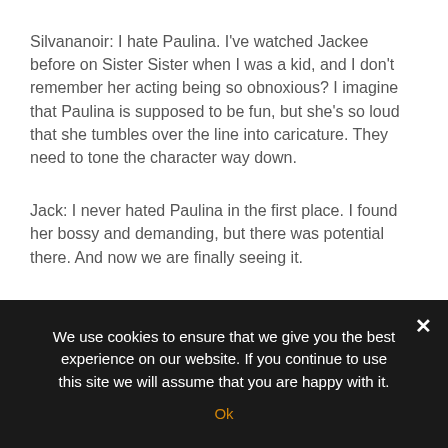Silvananoir: I hate Paulina. I've watched Jackee before on Sister Sister when I was a kid, and I don't remember her acting being so obnoxious? I imagine that Paulina is supposed to be fun, but she's so loud that she tumbles over the line into caricature. They need to tone the character way down.
Jack: I never hated Paulina in the first place. I found her bossy and demanding, but there was potential there. And now we are finally seeing it.
We use cookies to ensure that we give you the best experience on our website. If you continue to use this site we will assume that you are happy with it.
Ok